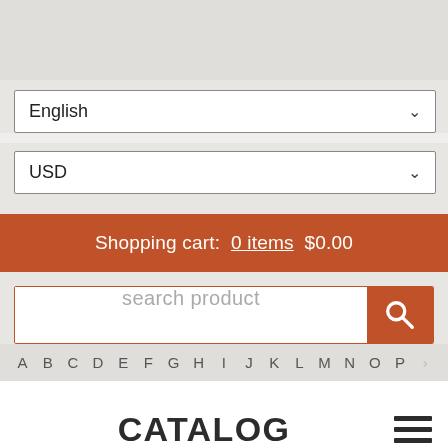[Figure (screenshot): Top gray header area of a web page]
English
USD
Shopping cart:  0 items  $0.00
search product
A  B  C  D  E  F  G  H  I  J  K  L  M  N  O  P
CATALOG
[Figure (screenshot): Bottom partial content area]